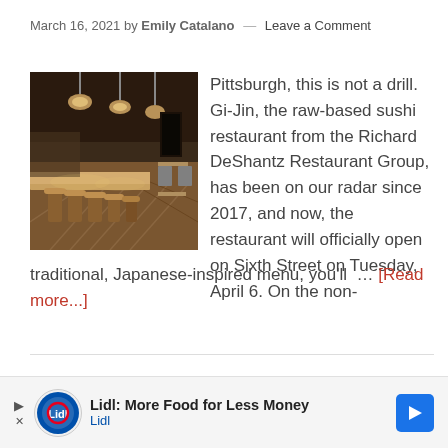March 16, 2021 by Emily Catalano — Leave a Comment
[Figure (photo): Interior of Gi-Jin restaurant showing a long wooden bar counter with stools, pendant lights, and wooden flooring]
Pittsburgh, this is not a drill. Gi-Jin, the raw-based sushi restaurant from the Richard DeShantz Restaurant Group, has been on our radar since 2017, and now, the restaurant will officially open on Sixth Street on Tuesday, April 6. On the non-traditional, Japanese-inspired menu, you'll … [Read more...]
Me... Re...
[Figure (other): Lidl advertisement banner: Lidl: More Food for Less Money]